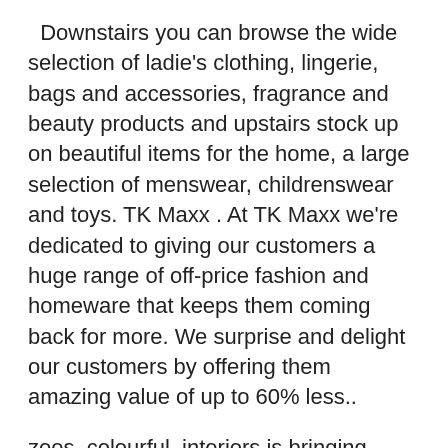Downstairs you can browse the wide selection of ladie's clothing, lingerie, bags and accessories, fragrance and beauty products and upstairs stock up on beautiful items for the home, a large selection of menswear, childrenswear and toys. TK Maxx . At TK Maxx we're dedicated to giving our customers a huge range of off-price fashion and homeware that keeps them coming back for more. We surprise and delight our customers by offering them amazing value of up to 60% less..
zoes_colourful_interiors is bringing spring to her home with patterns and pops of colour. TK Maxx TX Maxx is located on Silbury Arcade in the former Woolworths unit.
Electrical technician certification